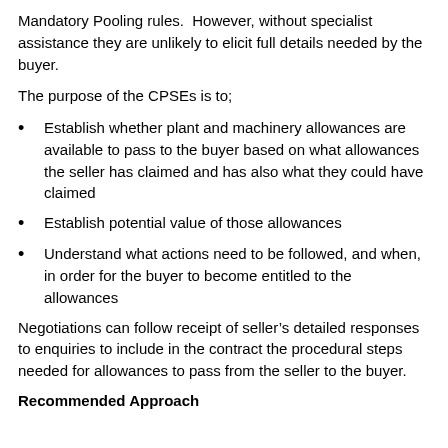Mandatory Pooling rules.  However, without specialist assistance they are unlikely to elicit full details needed by the buyer.
The purpose of the CPSEs is to;
Establish whether plant and machinery allowances are available to pass to the buyer based on what allowances the seller has claimed and has also what they could have claimed
Establish potential value of those allowances
Understand what actions need to be followed, and when, in order for the buyer to become entitled to the allowances
Negotiations can follow receipt of seller’s detailed responses to enquiries to include in the contract the procedural steps needed for allowances to pass from the seller to the buyer.
Recommended Approach